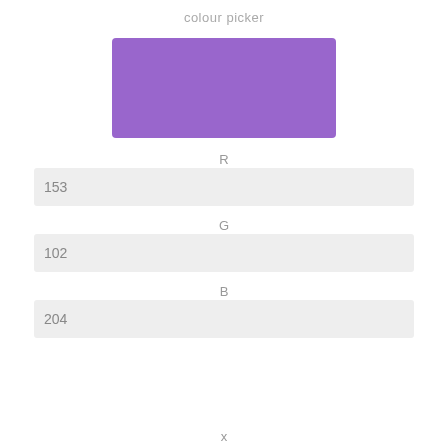colour picker
[Figure (other): A rectangular colour swatch filled with medium purple/violet colour (RGB 153, 102, 204)]
R
153
G
102
B
204
x